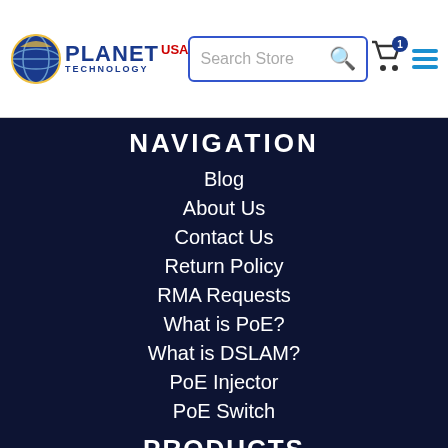Planet Technology USA — Search Store header with cart and menu
NAVIGATION
Blog
About Us
Contact Us
Return Policy
RMA Requests
What is PoE?
What is DSLAM?
PoE Injector
PoE Switch
PRODUCTS
Switches
Media Converters
Ethernet Extenders
VoIP Equipment
Network Components